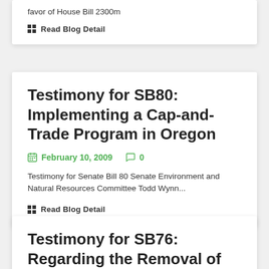favor of House Bill 2300m
Read Blog Detail
Testimony for SB80: Implementing a Cap-and-Trade Program in Oregon
February 10, 2009   0
Testimony for Senate Bill 80 Senate Environment and Natural Resources Committee Todd Wynn...
Read Blog Detail
Testimony for SB76: Regarding the Removal of the Klamath